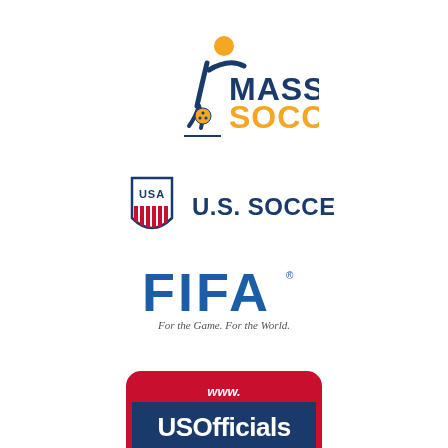[Figure (logo): Mass Soccer logo: stylized blue soccer player figure with yellow ball, text MASS in blue and SOCCER in yellow/gold]
[Figure (logo): U.S. Soccer logo: USA shield crest with red stripes, text U.S. SOCCER in dark navy]
[Figure (logo): FIFA logo: bold blue text FIFA with registered trademark, tagline 'For the Game. For the World.' in italic below]
[Figure (logo): USOfficials.com logo: rounded rectangle with red top bar (www.), blue middle (USOfficials), red bottom (.com) in white text]